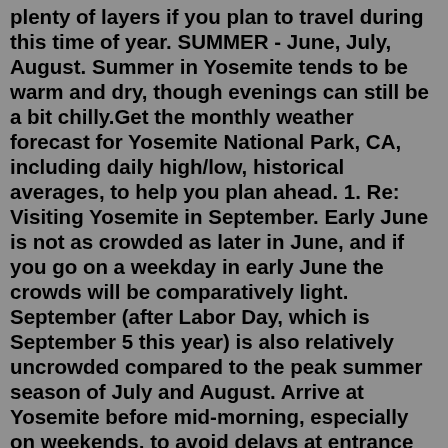plenty of layers if you plan to travel during this time of year. SUMMER - June, July, August. Summer in Yosemite tends to be warm and dry, though evenings can still be a bit chilly.Get the monthly weather forecast for Yosemite National Park, CA, including daily high/low, historical averages, to help you plan ahead. 1. Re: Visiting Yosemite in September. Early June is not as crowded as later in June, and if you go on a weekday in early June the crowds will be comparatively light. September (after Labor Day, which is September 5 this year) is also relatively uncrowded compared to the peak summer season of July and August. Arrive at Yosemite before mid-morning, especially on weekends, to avoid delays at entrance stations and popular areas like Yosemite Valley and Glacier Point. Weather. Warm to hot, with occasional rain (usually as afternoon thundershowers, especially at the higher elevations). Yosemite Valley & Wawona (4,000 ft / 1,200 m): 87°F (31°C) / 51°F ... The climate in september in Yosemite National Park